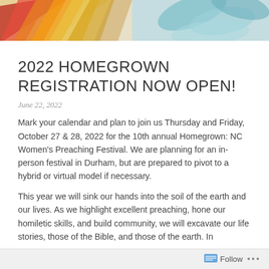[Figure (illustration): Colorful abstract banner illustration with warm sunburst patterns in red, orange, and yellow on the left, and teal/blue leaf or petal shapes on the right against a light background.]
2022 HOMEGROWN REGISTRATION NOW OPEN!
June 22, 2022
Mark your calendar and plan to join us Thursday and Friday, October 27 & 28, 2022 for the 10th annual Homegrown: NC Women’s Preaching Festival. We are planning for an in-person festival in Durham, but are prepared to pivot to a hybrid or virtual model if necessary.
This year we will sink our hands into the soil of the earth and our lives. As we highlight excellent preaching, hone our homiletic skills, and build community, we will excavate our life stories, those of the Bible, and those of the earth. In